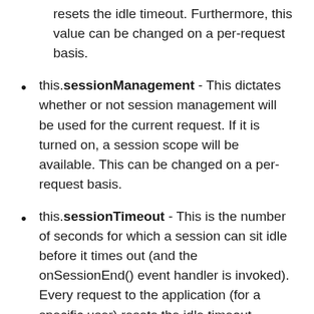resets the idle timeout. Furthermore, this value can be changed on a per-request basis.
this.sessionManagement - This dictates whether or not session management will be used for the current request. If it is turned on, a session scope will be available. This can be changed on a per-request basis.
this.sessionTimeout - This is the number of seconds for which a session can sit idle before it times out (and the onSessionEnd() event handler is invoked). Every request to the application (for a specific user) resets the idle timeout. Furthermore, this value can be